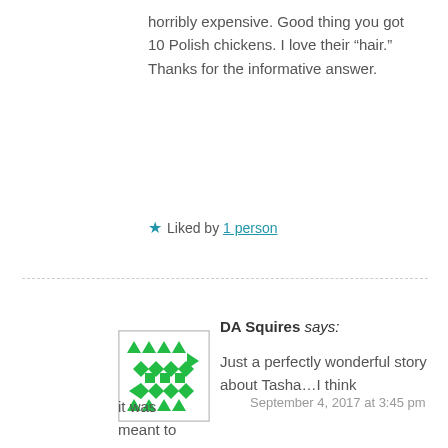horribly expensive. Good thing you got 10 Polish chickens. I love their “hair.” Thanks for the informative answer.
Liked by 1 person
DA Squires says: Just a perfectly wonderful story about Tasha…I think it was meant to be. She sounds like a character from a novel, and I love that she appreciated your style from your home, farm stand
September 4, 2017 at 3:45 pm